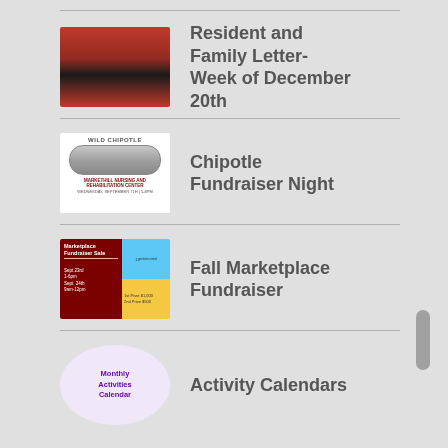Resident and Family Letter- Week of December 20th
Chipotle Fundraiser Night
Fall Marketplace Fundraiser
Activity Calendars